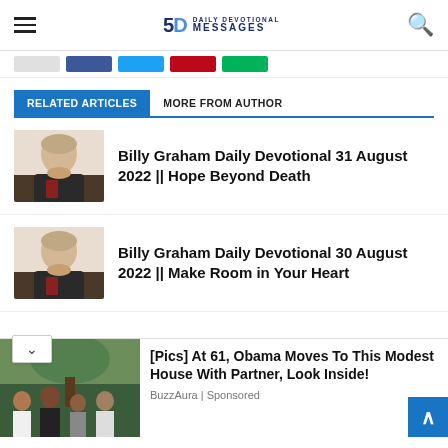5D Daily Devotional Messages
[Figure (other): Social sharing buttons row: grey, Facebook blue, Twitter sky blue, Pinterest red, green button]
RELATED ARTICLES | MORE FROM AUTHOR
[Figure (photo): Thumbnail portrait of Billy Graham in suit]
Billy Graham Daily Devotional 31 August 2022 || Hope Beyond Death
[Figure (photo): Thumbnail portrait of Billy Graham in suit]
Billy Graham Daily Devotional 30 August 2022 || Make Room in Your Heart
[Figure (photo): Advertisement photo showing family group outdoors]
[Pics] At 61, Obama Moves To This Modest House With Partner, Look Inside!
BuzzAura | Sponsored